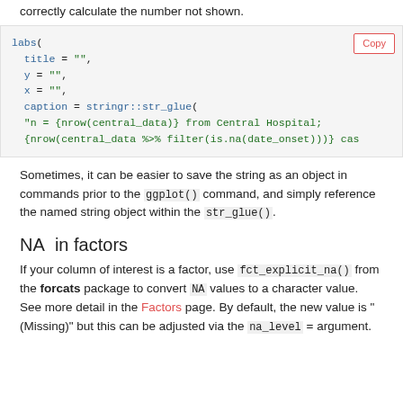correctly calculate the number not shown.
[Figure (screenshot): Code block showing labs() function with title, y, x, caption arguments using stringr::str_glue(), with a Copy button in top-right corner]
Sometimes, it can be easier to save the string as an object in commands prior to the ggplot() command, and simply reference the named string object within the str_glue().
NA in factors
If your column of interest is a factor, use fct_explicit_na() from the forcats package to convert NA values to a character value. See more detail in the Factors page. By default, the new value is "(Missing)" but this can be adjusted via the na_level = argument.